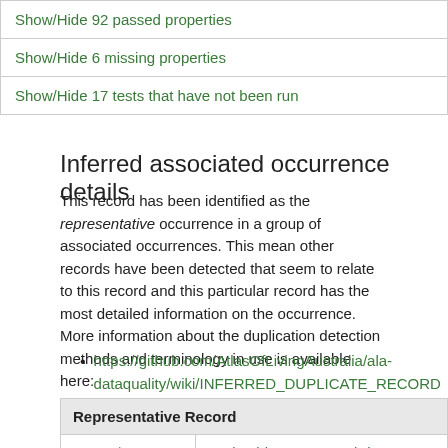| Show/Hide 92 passed properties |
| Show/Hide 6 missing properties |
| Show/Hide 17 tests that have not been run |
Inferred associated occurrence details
This record has been identified as the representative occurrence in a group of associated occurrences. This mean other records have been detected that seem to relate to this record and this particular record has the most detailed information on the occurrence. More information about the duplication detection methods and terminology in use is available here:
https://github.com/AtlasOfLivingAustralia/ala-dataquality/wiki/INFERRED_DUPLICATE_RECORD
| Representative Record |  |
| --- | --- |
| Record UUID | 48cb2cbb-8e00-49c7-bd60-dd14871d9b46 |
| Data Resource | State Herbarium of South Australia (AD) AVH data |